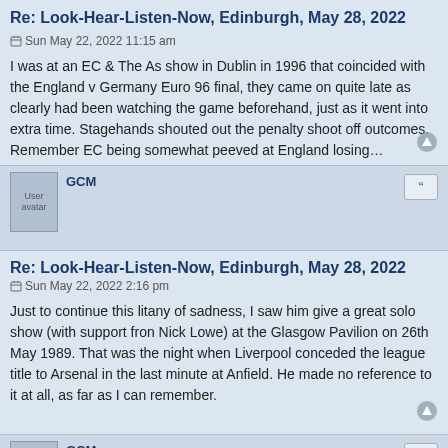Re: Look-Hear-Listen-Now, Edinburgh, May 28, 2022
Sun May 22, 2022 11:15 am
I was at an EC & The As show in Dublin in 1996 that coincided with the England v Germany Euro 96 final, they came on quite late as clearly had been watching the game beforehand, just as it went into extra time. Stagehands shouted out the penalty shoot off outcomes. Remember EC being somewhat peeved at England losing…
GCM
Re: Look-Hear-Listen-Now, Edinburgh, May 28, 2022
Sun May 22, 2022 2:16 pm
Just to continue this litany of sadness, I saw him give a great solo show (with support fron Nick Lowe) at the Glasgow Pavilion on 26th May 1989. That was the night when Liverpool conceded the league title to Arsenal in the last minute at Anfield. He made no reference to it at all, as far as I can remember.
GCM